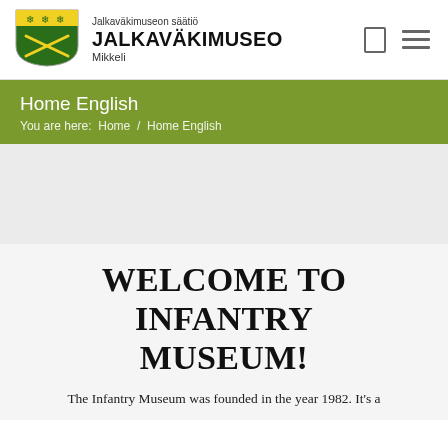[Figure (logo): Jalkaväkimuseo (Infantry Museum) shield logo with yellow snowflake/cross pattern on green background, rifle symbols]
Jalkaväkimuseon säätiö JALKAVÄKIMUSEO Mikkeli
Home English
You are here:  Home  /  Home English
[Figure (photo): Gray placeholder image area]
WELCOME TO INFANTRY MUSEUM!
The Infantry Museum was founded in the year 1982. It's a